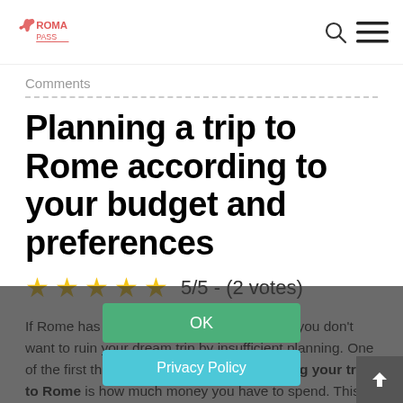Roma Pass — navigation bar with logo, search icon, and hamburger menu
Comments
Planning a trip to Rome according to your budget and preferences
5/5 - (2 votes)
If Rome has been on your travel bucket list, you don't want to ruin your dream trip by insufficient planning. One of the first things to determine when planning your trip to Rome is how much money you have to spend. This will ultimately impact on when you travel, how you travel, where you stay, and what you see.
OK
Privacy Policy